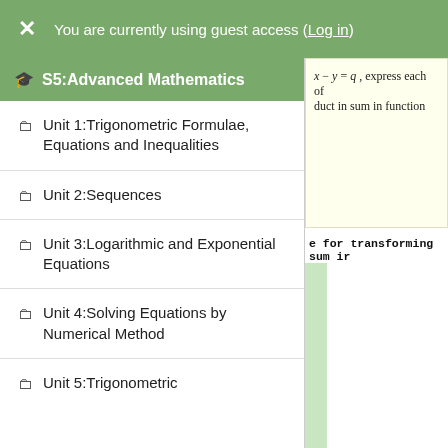You are currently using guest access (Log in)
S5:Advanced Mathematics
Unit 1:Trigonometric Formulae, Equations and Inequalities
Unit 2:Sequences
Unit 3:Logarithmic and Exponential Equations
Unit 4:Solving Equations by Numerical Method
Unit 5:Trigonometric
x – y = q , express each of duct in sum in function
e for transforming sum ir